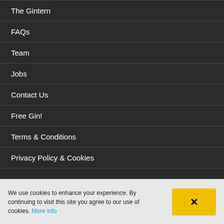The Gintern
FAQs
Team
Jobs
Contact Us
Free Gin!
Terms & Conditions
Privacy Policy & Cookies
We use cookies to enhance your experience. By continuing to visit this site you agree to our use of cookies. More info